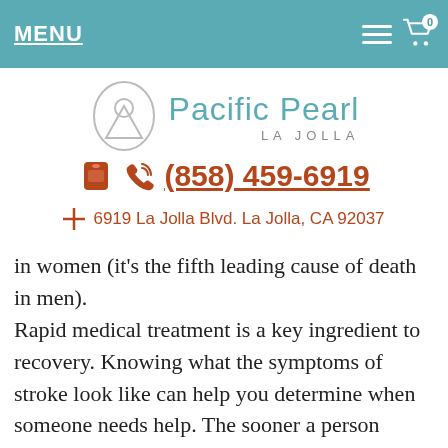MENU
[Figure (logo): Pacific Pearl La Jolla logo with circular emblem and teal text]
(858) 459-6919
6919 La Jolla Blvd. La Jolla, CA 92037
in women (it’s the fifth leading cause of death in men). Rapid medical treatment is a key ingredient to recovery. Knowing what the symptoms of stroke look like can help you determine when someone needs help. The sooner a person having a stroke gets to the hospital, the better as it is now possible to intervene immediately the way